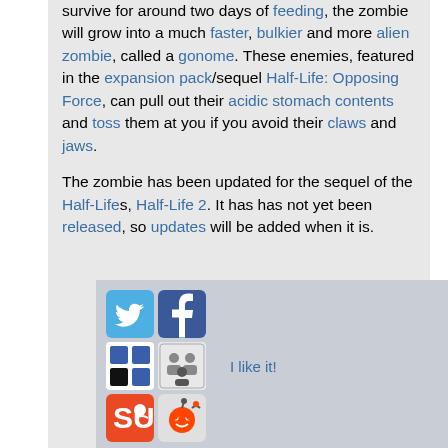survive for around two days of feeding, the zombie will grow into a much faster, bulkier and more alien zombie, called a gonome. These enemies, featured in the expansion pack/sequel Half-Life: Opposing Force, can pull out their acidic stomach contents and toss them at you if you avoid their claws and jaws.
The zombie has been updated for the sequel of the Half-Lifes, Half-Life 2. It has has not yet been released, so updates will be added when it is.
[Figure (other): Social sharing bar with Twitter, Facebook, Delicious, and Reddit icons, plus 'I like it!' text link]